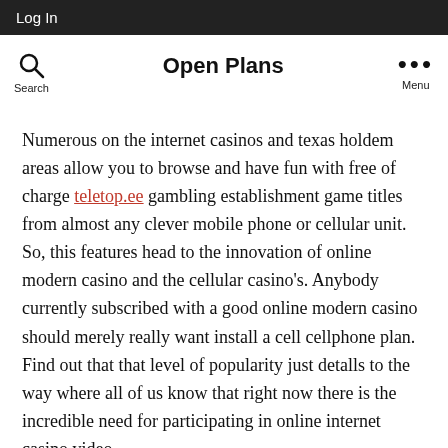Log In
Open Plans
Numerous on the internet casinos and texas holdem areas allow you to browse and have fun with free of charge teletop.ee gambling establishment game titles from almost any clever mobile phone or cellular unit. So, this features head to the innovation of online modern casino and the cellular casino's. Anybody currently subscribed with a good online modern casino should merely really want install a cell cellphone plan. Find out that that level of popularity just detalls to the way where all of us know that right now there is the incredible need for participating in online internet casino video